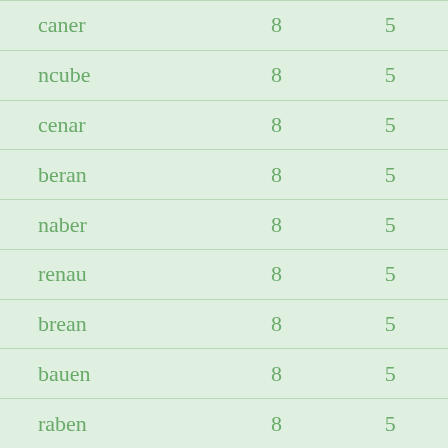| caner | 8 | 5 |
| ncube | 8 | 5 |
| cenar | 8 | 5 |
| beran | 8 | 5 |
| naber | 8 | 5 |
| renau | 8 | 5 |
| brean | 8 | 5 |
| bauen | 8 | 5 |
| raben | 8 | 5 |